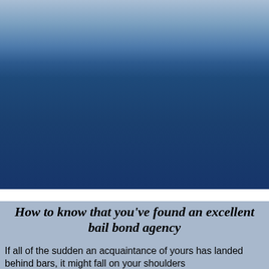[Figure (illustration): Blue metallic gradient header banner at the top of the page]
[Figure (screenshot): Dark navy blue navigation banner area with a dark 'Click for Menu' button centered, containing underlined bold white text and three horizontal white lines below it]
How to know that you've found an excellent bail bond agency
If all of the sudden an acquaintance of yours has landed behind bars, it might fall on your shoulders